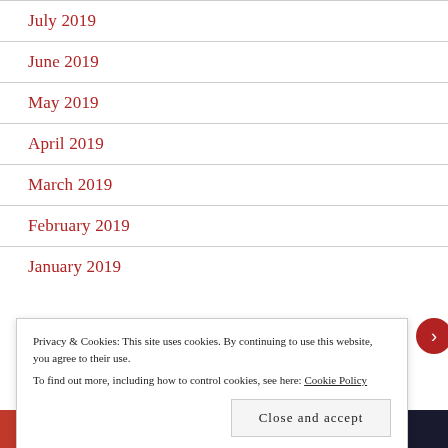July 2019
June 2019
May 2019
April 2019
March 2019
February 2019
January 2019
Privacy & Cookies: This site uses cookies. By continuing to use this website, you agree to their use. To find out more, including how to control cookies, see here: Cookie Policy
Close and accept
[Figure (other): Ad banner with two sections: left red section 'All in One Free App', right dark section 'DuckDuckGo']